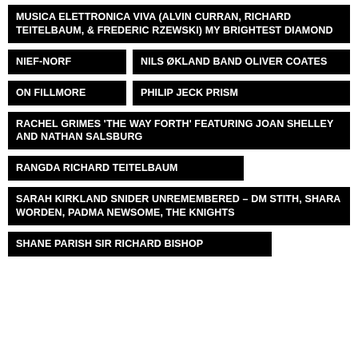MUSICA ELETTRONICA VIVA (ALVIN CURRAN, RICHARD TEITELBAUM, & FREDERIC RZEWSKI) MY BRIGHTEST DIAMOND
NIEF-NORF
NILS ØKLAND BAND OLIVER COATES
ON FILLMORE
PHILIP JECK PRISM
RACHEL GRIMES 'THE WAY FORTH' FEATURING JOAN SHELLEY AND NATHAN SALSBURG
RANGDA RICHARD TEITELBAUM
SARAH KIRKLAND SNIDER UNREMEMBERED – DM STITH, SHARA WORDEN, PADMA NEWSOME, THE KNIGHTS
SHANE PARISH SIR RICHARD BISHOP